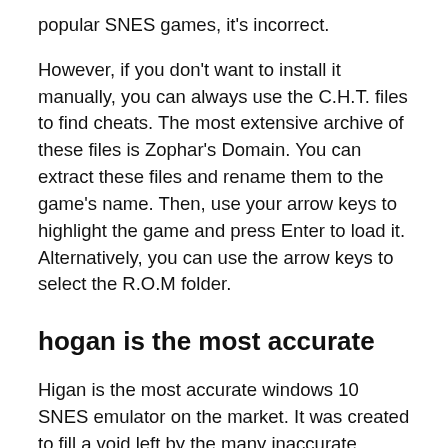popular SNES games, it's incorrect.
However, if you don't want to install it manually, you can always use the C.H.T. files to find cheats. The most extensive archive of these files is Zophar's Domain. You can extract these files and rename them to the game's name. Then, use your arrow keys to highlight the game and press Enter to load it. Alternatively, you can use the arrow keys to select the R.O.M folder.
hogan is the most accurate
Higan is the most accurate windows 10 SNES emulator on the market. It was created to fill a void left by the many inaccurate SNES emulators.